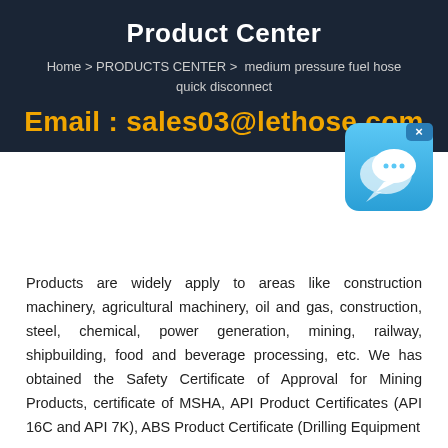Product Center
Home > PRODUCTS CENTER >  medium pressure fuel hose quick disconnect
Email : sales03@lethose.com
[Figure (illustration): Chat widget icon: blue rounded square with white speech bubble chat icons]
Products are widely apply to areas like construction machinery, agricultural machinery, oil and gas, construction, steel, chemical, power generation, mining, railway, shipbuilding, food and beverage processing, etc. We has obtained the Safety Certificate of Approval for Mining Products, certificate of MSHA, API Product Certificates (API 16C and API 7K), ABS Product Certificate (Drilling Equipment